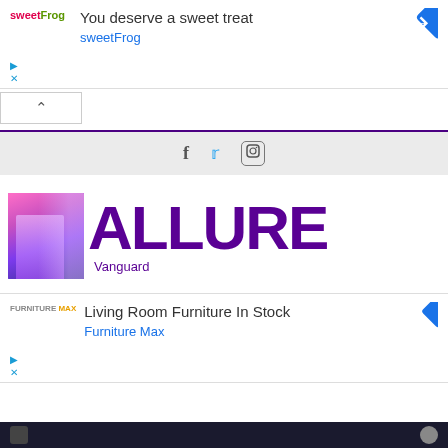[Figure (screenshot): SweetFrog advertisement banner with logo, text 'You deserve a sweet treat', 'sweetFrog' link, and navigation arrow icon]
[Figure (screenshot): Collapse/accordion UI control with upward chevron arrow]
[Figure (screenshot): Social media icon bar with Facebook, Twitter, and Instagram icons on grey background]
[Figure (screenshot): Allure Vanguard magazine logo — large purple bold ALLURE text with woman in sparkly outfit and Vanguard subtitle]
[Figure (screenshot): Furniture Max advertisement banner with logo, text 'Living Room Furniture In Stock', 'Furniture Max' link, and navigation arrow icon]
[Figure (screenshot): Dark bottom navigation bar]